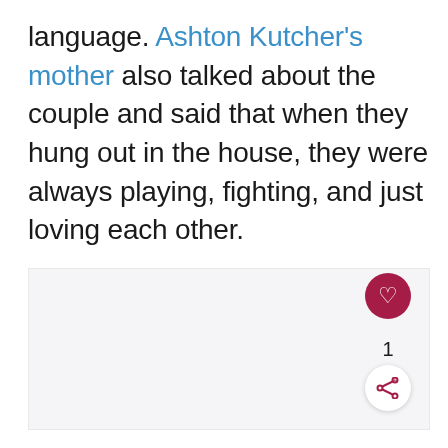language. Ashton Kutcher's mother also talked about the couple and said that when they hung out in the house, they were always playing, fighting, and just loving each other.
[Figure (other): Light gray image placeholder area with a heart/like button (dark red circle with white heart icon), a like count of 1, and a share button (white circle with dark red share icon) in the bottom right corner.]